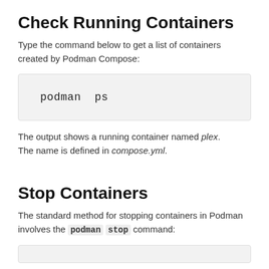Check Running Containers
Type the command below to get a list of containers created by Podman Compose:
[Figure (screenshot): Code block showing the command: podman  ps]
The output shows a running container named plex. The name is defined in compose.yml.
Stop Containers
The standard method for stopping containers in Podman involves the podman stop command:
[Figure (screenshot): Partial code block at page bottom]